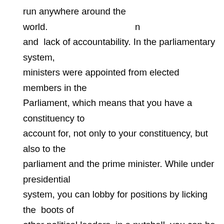run anywhere around the world. and lack of accountability. In the parliamentary system, ministers were appointed from elected members in the Parliament, which means that you have a constituency to account for, not only to your constituency, but also to the parliament and the prime minister. While under presidential system, you can lobby for positions by licking the boots of other political leaders, in a nutshell, you can be enlisted to be a minister even if your people don't know you. In other words, you don't feel accountable to anybody apart from the person who nominated you, or a godfather. In presidential system, a minister is free to do whatever he likes as long as the President is comfortable with him. These are some of our major setbacks. So, to answer your question, this is to some extent, the factors responsible for the lack of development of our nation today.